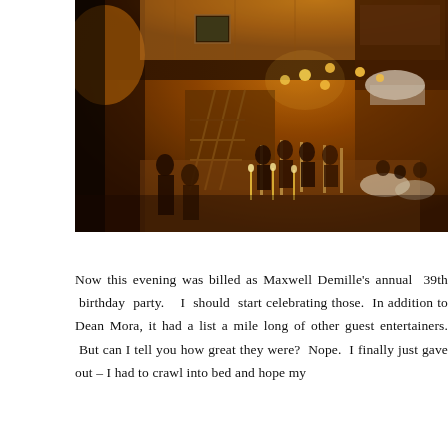[Figure (photo): Interior of an upscale venue or restaurant/ballroom with warm amber lighting. An orchestra or band is visible in the center performing, with audience members seated at tables. A grand staircase is visible in the background along with balcony seating. Ornate wooden paneling and hanging lights create an elegant atmosphere.]
Now this evening was billed as Maxwell Demille's annual 39th birthday party. I should start celebrating those. In addition to Dean Mora, it had a list a mile long of other guest entertainers. But can I tell you how great they were? Nope. I finally just gave out – I had to crawl into bed and hope my